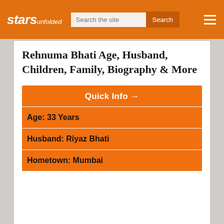stars unfolded
Rehnuma Bhati Age, Husband, Children, Family, Biography & More
| Quick Info → |
| --- |
| Age: 33 Years |
| Husband: Riyaz Bhati |
| Hometown: Mumbai |